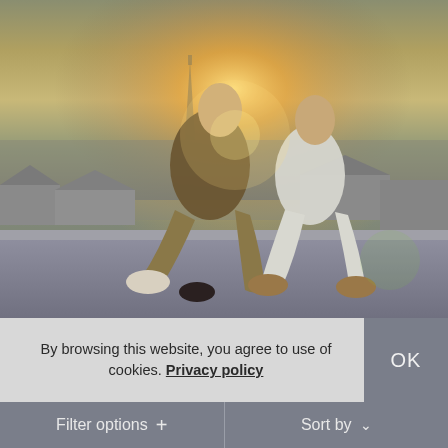[Figure (photo): Two people sitting on a rooftop in Paris at sunset, with the Eiffel Tower visible in the background and warm golden light. One person wears a brown jacket and khaki trousers with white boots; the other wears a white outfit with tan boots.]
By browsing this website, you agree to use of cookies. Privacy policy
OK
Filter options +
Sort by